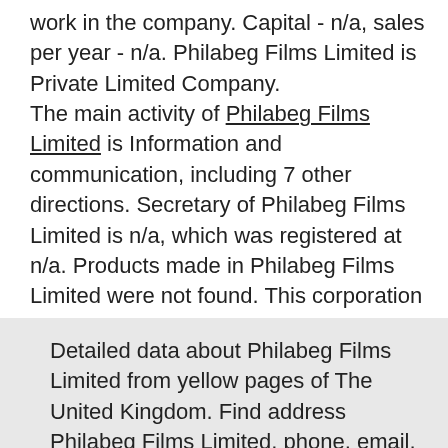work in the company. Capital - n/a, sales per year - n/a. Philabeg Films Limited is Private Limited Company. The main activity of Philabeg Films Limited is Information and communication, including 7 other directions. Secretary of Philabeg Films Limited is n/a, which was registered at n/a. Products made in Philabeg Films Limited were not found. This corporation was registered on n/a and was issued with the Register number n/a in Aberdeen, The UK; now status company is n\a. Its contact method and company information is as below. In total the company used 0 trading names. You can also view reviews of Philabeg Films Limited, open vacancies, location of Philabeg Films Limited on the map. For more information, visit the site or send request to contacts. The above data comes from the global database of United Kingdom which was updated on 2022
Detailed data about Philabeg Films Limited from yellow pages of The United Kingdom. Find address Philabeg Films Limited, phone, email, website credits, responds,